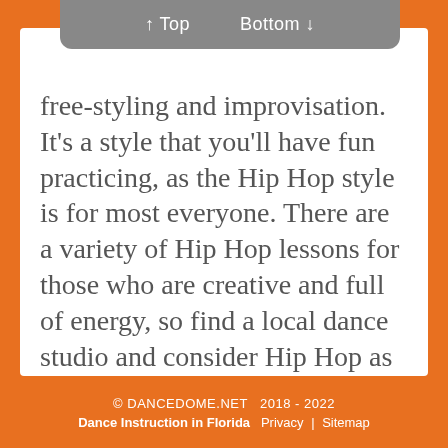↑ Top    Bottom ↓
free-styling and improvisation. It's a style that you'll have fun practicing, as the Hip Hop style is for most everyone. There are a variety of Hip Hop lessons for those who are creative and full of energy, so find a local dance studio and consider Hip Hop as your first class lesson. Most dance studios will give the first lesson for free.
"Bust a Move!"
© DANCEDOME.NET  2018 - 2022  Dance Instruction in Florida  Privacy  |  Sitemap